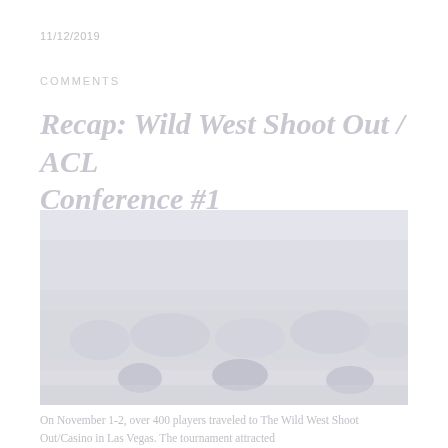11/12/2019
COMMENTS
Recap: Wild West Shoot Out / ACL Conference #1
[Figure (photo): Crowd of people gathered outdoors, appearing to be at an outdoor sporting event or competition, with trees visible in the background]
On November 1-2, over 400 players traveled to The Wild West Shoot Out/Casino in Las Vegas. The tournament attracted